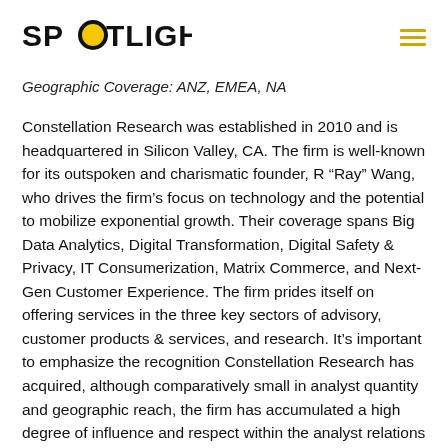SPOTLIGHT
Geographic Coverage: ANZ, EMEA, NA
Constellation Research was established in 2010 and is headquartered in Silicon Valley, CA. The firm is well-known for its outspoken and charismatic founder, R “Ray” Wang, who drives the firm’s focus on technology and the potential to mobilize exponential growth. Their coverage spans Big Data Analytics, Digital Transformation, Digital Safety & Privacy, IT Consumerization, Matrix Commerce, and Next-Gen Customer Experience. The firm prides itself on offering services in the three key sectors of advisory, customer products & services, and research. It’s important to emphasize the recognition Constellation Research has acquired, although comparatively small in analyst quantity and geographic reach, the firm has accumulated a high degree of influence and respect within the analyst relations industry.